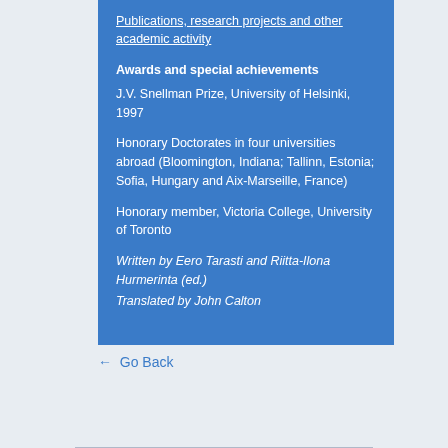Publications, research projects and other academic activity
Awards and special achievements
J.V. Snellman Prize, University of Helsinki, 1997
Honorary Doctorates in four universities abroad (Bloomington, Indiana; Tallinn, Estonia; Sofia, Hungary and Aix-Marseille, France)
Honorary member, Victoria College, University of Toronto
Written by Eero Tarasti and Riitta-Ilona Hurmerinta (ed.)
Translated by John Calton
← Go Back